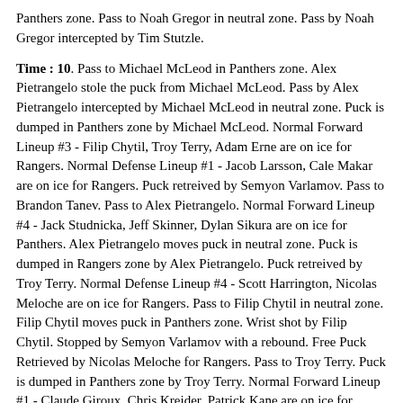Panthers zone. Pass to Noah Gregor in neutral zone. Pass by Noah Gregor intercepted by Tim Stutzle.
Time : 10. Pass to Michael McLeod in Panthers zone. Alex Pietrangelo stole the puck from Michael McLeod. Pass by Alex Pietrangelo intercepted by Michael McLeod in neutral zone. Puck is dumped in Panthers zone by Michael McLeod. Normal Forward Lineup #3 - Filip Chytil, Troy Terry, Adam Erne are on ice for Rangers. Normal Defense Lineup #1 - Jacob Larsson, Cale Makar are on ice for Rangers. Puck retreived by Semyon Varlamov. Pass to Brandon Tanev. Pass to Alex Pietrangelo. Normal Forward Lineup #4 - Jack Studnicka, Jeff Skinner, Dylan Sikura are on ice for Panthers. Alex Pietrangelo moves puck in neutral zone. Puck is dumped in Rangers zone by Alex Pietrangelo. Puck retreived by Troy Terry. Normal Defense Lineup #4 - Scott Harrington, Nicolas Meloche are on ice for Rangers. Pass to Filip Chytil in neutral zone. Filip Chytil moves puck in Panthers zone. Wrist shot by Filip Chytil. Stopped by Semyon Varlamov with a rebound. Free Puck Retrieved by Nicolas Meloche for Rangers. Pass to Troy Terry. Puck is dumped in Panthers zone by Troy Terry. Normal Forward Lineup #1 - Claude Giroux, Chris Kreider, Patrick Kane are on ice for Rangers. Puck retreived by Semyon Varlamov. Pass to Jeff Skinner. Pass to Alex Pietrangelo. Normal Forward Lineup #2 - Alexander Wennberg, Trevor Moore, Jakob Silfverberg are on ice for Panthers. Pass to Jakob Silfverberg. Pass by Jakob Silfverberg intercepted by Claude Giroux. Pass to Patrick Kane. Puck...